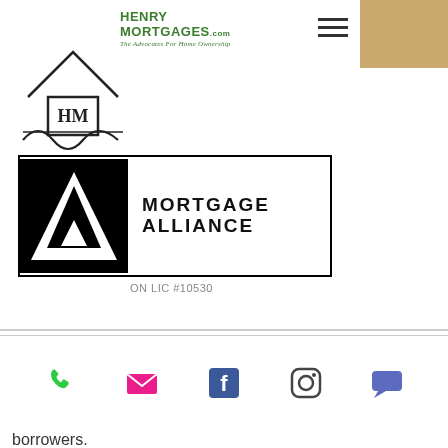[Figure (logo): Henry Mortgages .com logo with HM house symbol and tagline 'The Advocates For Home Ownership']
[Figure (logo): Mortgage Alliance logo with black triangle containing white A and text MORTGAGE ALLIANCE]
ON LIC #10530
...employment income or business income instead of employment income. Being self-employed means that your income and needs will be different from employed borrowers. We have great mortgage solutions specifically for self-employed borrowers.
[Figure (infographic): Footer contact icons: phone, email, Facebook, Instagram, chat bubble]